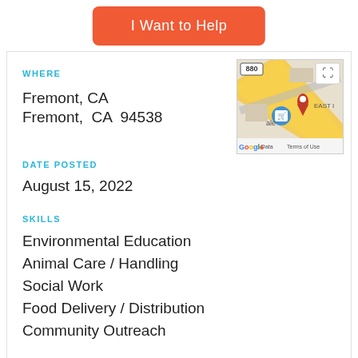I Want to Help
WHERE
Fremont, CA
Fremont, CA  94538
[Figure (map): Google Maps thumbnail showing Fremont, CA 94538 location with a red pin marker and blue location icon. Shows a road intersection, partial text '880', 'ale', 'EAST', 'Data', 'Terms of Use', and Google logo.]
DATE POSTED
August 15, 2022
SKILLS
Environmental Education
Animal Care / Handling
Social Work
Food Delivery / Distribution
Community Outreach